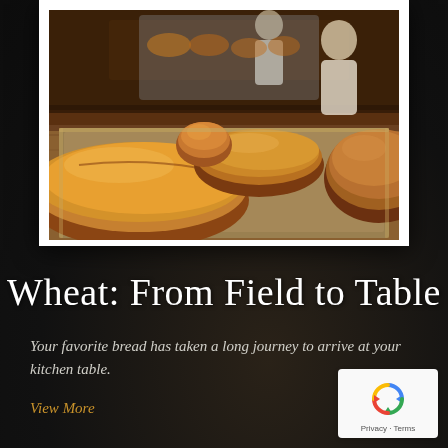[Figure (photo): Freshly baked bread loaves on a conveyor belt in a bakery, with a baker visible in the background. Close-up warm tones of golden-brown bread.]
Wheat: From Field to Table
Your favorite bread has taken a long journey to arrive at your kitchen table.
View More
[Figure (logo): Google reCAPTCHA badge with recycling arrow logo icon and 'Privacy · Terms' text below]